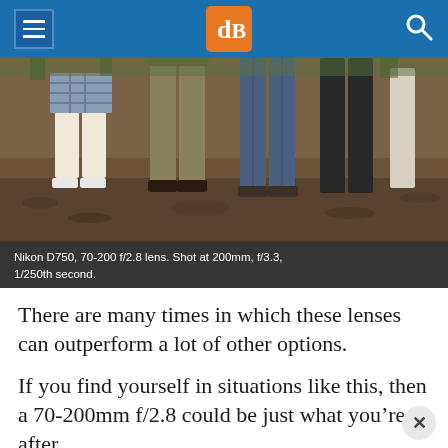dPS logo header with menu and search icons
[Figure (photo): Photo showing lower legs and feet of several people standing on leaf-covered ground. People are wearing various pants: plaid shorts, khakis, jeans, black pants, and light-colored pants.]
Nikon D750, 70-200 f/2.8 lens. Shot at 200mm, f/3.3, 1/250th second.
There are many times in which these lenses can outperform a lot of other options.
If you find yourself in situations like this, then a 70-200mm f/2.8 could be just what you're after.
They are great for things like: